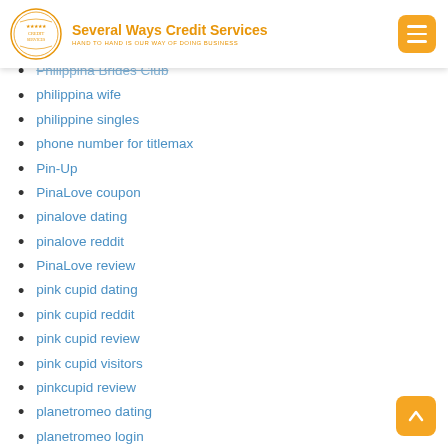Several Ways Credit Services — HAND TO HAND IS OUR WAY OF DOING BUSINESS
Philippina Brides Club
philippina wife
philippine singles
phone number for titlemax
Pin-Up
PinaLove coupon
pinalove dating
pinalove reddit
PinaLove review
pink cupid dating
pink cupid reddit
pink cupid review
pink cupid visitors
pinkcupid review
planetromeo dating
planetromeo login
PlanetRomeo visitors
planetromeodating.de Ressource
planetromeodating.de Rezension
planetromeodating.de Suche